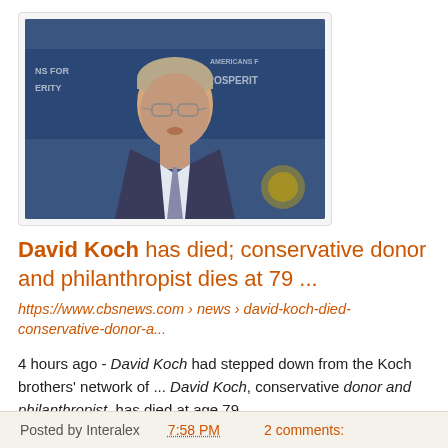[Figure (photo): Photo of David Koch at an Americans for Prosperity event, blue background with event signage text visible]
David Koch has died; conservative donor and philanthropist dies at 79 ...
https://www.cbsnews.com › news › david-koch-died-conservative-donor-a...
4 hours ago - David Koch had stepped down from the Koch brothers' network of ... David Koch, conservative donor and philanthropist, has died at age 79.
Posted by Interalex 7:58 PM   2 comments: